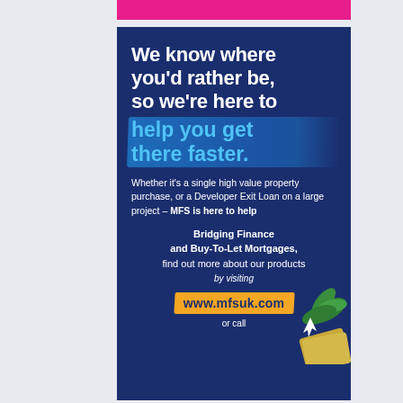[Figure (illustration): Pink horizontal bar at top of advertisement]
We know where you'd rather be, so we're here to help you get there faster.
Whether it's a single high value property purchase, or a Developer Exit Loan on a large project – MFS is here to help
Bridging Finance and Buy-To-Let Mortgages, find out more about our products by visiting www.mfsuk.com or call